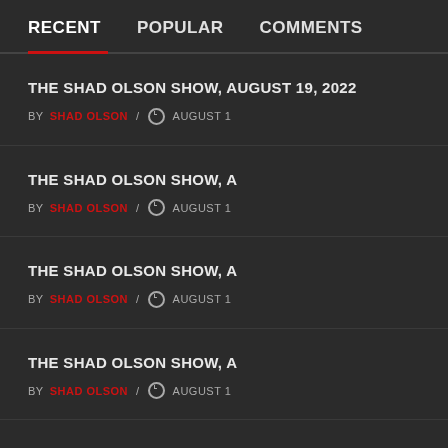RECENT | POPULAR | COMMENTS
THE SHAD OLSON SHOW, AUGUST 19, 2022
BY SHAD OLSON / AUGUST
THE SHAD OLSON SHOW, A...
BY SHAD OLSON / AUGUST
THE SHAD OLSON SHOW, A...
BY SHAD OLSON / AUGUST
THE SHAD OLSON SHOW, A...
BY SHAD OLSON / AUGUST
[Figure (photo): The Shad Olson Show thumbnail with American flag and silhouette, August]
RADIO
The S...
Augu...
[Figure (photo): The Shad Olson Show thumbnail with American flag and silhouette, August 14, 2...]
RADIO
The S...
14, 2...
[Figure (photo): The Shad Olson Show thumbnail with American flag and silhouette, September]
RADIO
The S...
Sept...